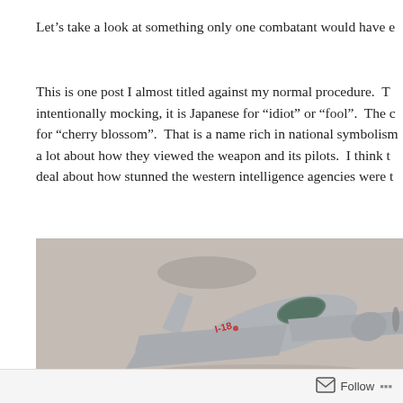Let’s take a look at something only one combatant would have e
This is one post I almost titled against my normal procedure.  T intentionally mocking, it is Japanese for “idiot” or “fool”.  The c for “cherry blossom”.  That is a name rich in national symbolism a lot about how they viewed the weapon and its pilots.  I think t deal about how stunned the western intelligence agencies were t
[Figure (photo): Scale model of a Japanese military aircraft (marked I-18) photographed from above at an angle, showing the cockpit, wings, and tail. The model is light grey. Background is a light beige/grey surface with shadow of the aircraft visible.]
Follow